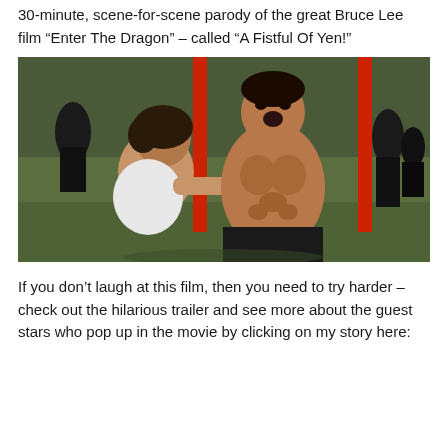30-minute, scene-for-scene parody of the great Bruce Lee film “Enter The Dragon” – called “A Fistful Of Yen!”
[Figure (photo): A martial arts movie scene showing a shirtless muscular man with mouth open in an expression of surprise or exertion, and a woman in a white top appearing to hold on from behind. Red poles are visible in the background along with other people and greenery.]
If you don’t laugh at this film, then you need to try harder – check out the hilarious trailer and see more about the guest stars who pop up in the movie by clicking on my story here: